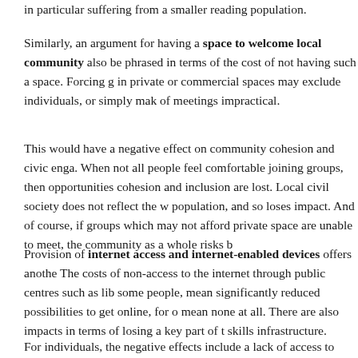in particular suffering from a smaller reading population.
Similarly, an argument for having a space to welcome local community also be phrased in terms of the cost of not having such a space. Forcing g in private or commercial spaces may exclude individuals, or simply mak of meetings impractical.
This would have a negative effect on community cohesion and civic enga. When not all people feel comfortable joining groups, then opportunities cohesion and inclusion are lost. Local civil society does not reflect the w population, and so loses impact. And of course, if groups which may not afford private space are unable to meet, the community as a whole risks b
Provision of internet access and internet-enabled devices offers anothe The costs of non-access to the internet through public centres such as lib some people, mean significantly reduced possibilities to get online, for o mean none at all. There are also impacts in terms of losing a key part of t skills infrastructure.
For individuals, the negative effects include a lack of access to eGoverr